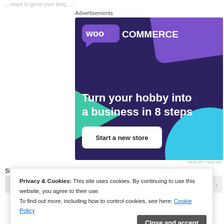...ways to grow your blog, ...
Advertisements
[Figure (illustration): WooCommerce advertisement banner with dark navy background, purple card, teal triangle, cyan circle. Text: 'Turn your hobby into a business in 8 steps' with 'Start a new store' button.]
REPORT THIS AD
Share this:
Advertisements
[Figure (illustration): WordPress Hosting advertisement: 'WORDPRESS HOSTING THAT MEANS BUSINESS.']
Privacy & Cookies: This site uses cookies. By continuing to use this website, you agree to their use. To find out more, including how to control cookies, see here: Cookie Policy
Close and accept